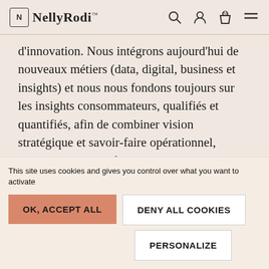NellyRodi™
d'innovation. Nous intégrons aujourd'hui de nouveaux métiers (data, digital, business et insights) et nous nous fondons toujours sur les insights consommateurs, qualifiés et quantifiés, afin de combiner vision stratégique et savoir-faire opérationnel, marketing et créatif.
READ MORE →
This site uses cookies and gives you control over what you want to activate
OK, ACCEPT ALL
DENY ALL COOKIES
PERSONALIZE